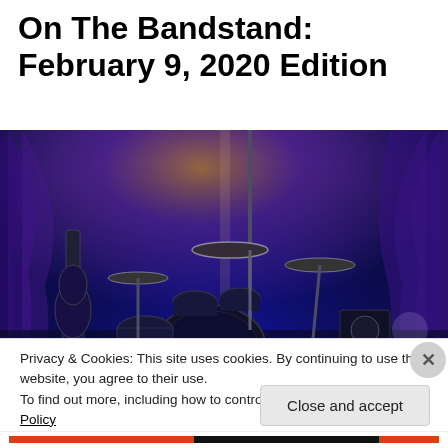On The Bandstand: February 9, 2020 Edition
[Figure (photo): A drum kit and guitar on a stage lit with blue and purple lighting, with draped curtains in the background and a cymbal mic stand visible.]
Privacy & Cookies: This site uses cookies. By continuing to use this website, you agree to their use.
To find out more, including how to control cookies, see here: Cookie Policy
Close and accept